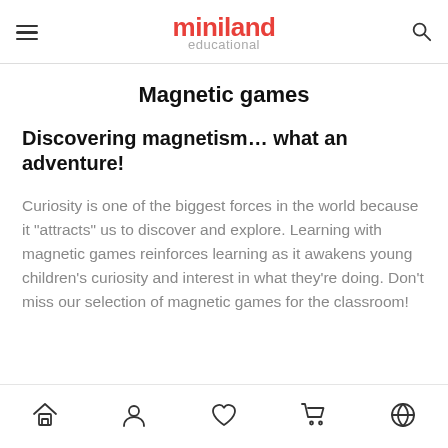miniland educational
Magnetic games
Discovering magnetism… what an adventure!
Curiosity is one of the biggest forces in the world because it "attracts" us to discover and explore. Learning with magnetic games reinforces learning as it awakens young children's curiosity and interest in what they're doing. Don't miss our selection of magnetic games for the classroom!
Home | Account | Wishlist | Cart | Globe